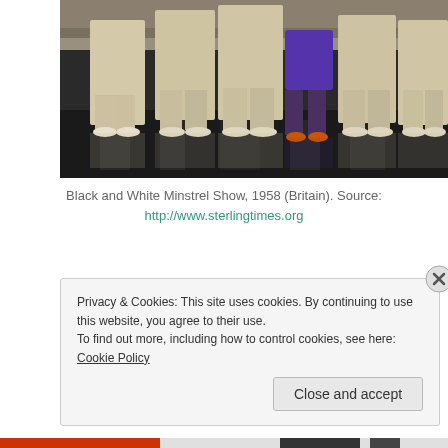[Figure (photo): A group of performers on stage at the Black and White Minstrel Show, 1958 (Britain). Performers are shown from approximately waist to feet, wearing light-colored suits, on a reflective dark stage floor. One performer in the center wears a purple dress.]
Black and White Minstrel Show, 1958 (Britain). Source: http://www.sterlingtimes.org
Privacy & Cookies: This site uses cookies. By continuing to use this website, you agree to their use.
To find out more, including how to control cookies, see here: Cookie Policy